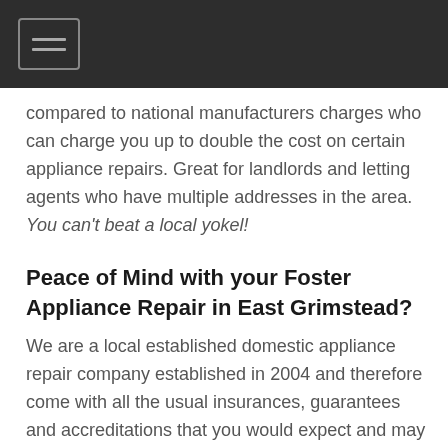[Navigation menu bar with hamburger icon]
compared to national manufacturers charges who can charge you up to double the cost on certain appliance repairs. Great for landlords and letting agents who have multiple addresses in the area. You can't beat a local yokel!
Peace of Mind with your Foster Appliance Repair in East Grimstead?
We are a local established domestic appliance repair company established in 2004 and therefore come with all the usual insurances, guarantees and accreditations that you would expect and may not get from other appliance companies or one man bands. Our domestic appliance engineers are all qualified and fully insured. We are now